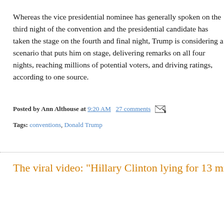Whereas the vice presidential nominee has generally spoken on the third night of the convention and the presidential candidate has taken the stage on the fourth and final night, Trump is considering a scenario that puts him on stage, delivering remarks on all four nights, reaching millions of potential voters, and driving ratings, according to one source.
Posted by Ann Althouse at 9:20 AM  27 comments
Tags: conventions, Donald Trump
The viral video: "Hillary Clinton lying for 13 minutes st...